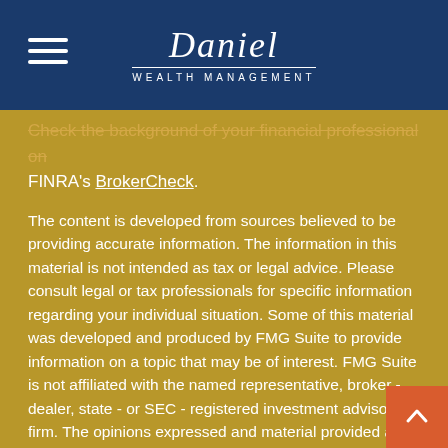Daniel Wealth Management
Check the background of your financial professional on FINRA's BrokerCheck.
The content is developed from sources believed to be providing accurate information. The information in this material is not intended as tax or legal advice. Please consult legal or tax professionals for specific information regarding your individual situation. Some of this material was developed and produced by FMG Suite to provide information on a topic that may be of interest. FMG Suite is not affiliated with the named representative, broker - dealer, state - or SEC - registered investment advisory firm. The opinions expressed and material provided are for general information, and should not be considered a solicitation for the purchase or sale of any security.
We take protecting your data and privacy very seriously. As of January 1, 2020 the California Consumer Privacy